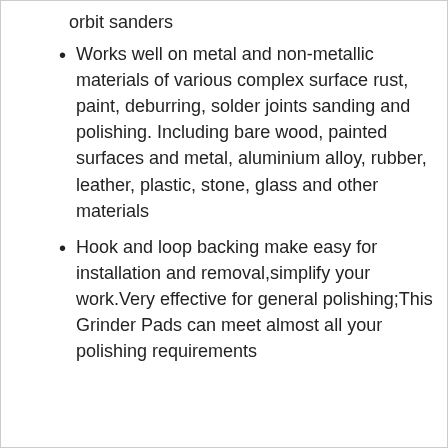orbit sanders
Works well on metal and non-metallic materials of various complex surface rust, paint, deburring, solder joints sanding and polishing. Including bare wood, painted surfaces and metal, aluminium alloy, rubber, leather, plastic, stone, glass and other materials
Hook and loop backing make easy for installation and removal,simplify your work.Very effective for general polishing;This Grinder Pads can meet almost all your polishing requirements